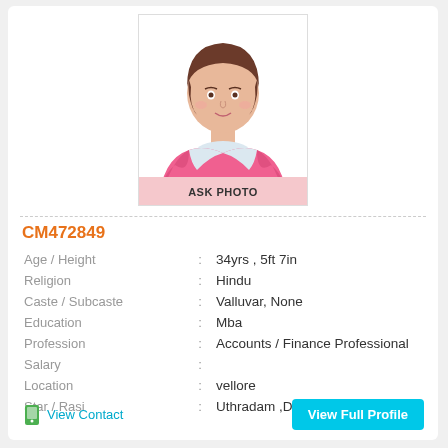[Figure (illustration): Female profile placeholder illustration wearing pink blazer with 'ASK PHOTO' label below]
CM472849
| Age / Height | : | 34yrs , 5ft 7in |
| Religion | : | Hindu |
| Caste / Subcaste | : | Valluvar, None |
| Education | : | Mba |
| Profession | : | Accounts / Finance Professional |
| Salary | : |  |
| Location | : | vellore |
| Star / Rasi | : | Uthradam ,Does not matter; |
View Contact
View Full Profile